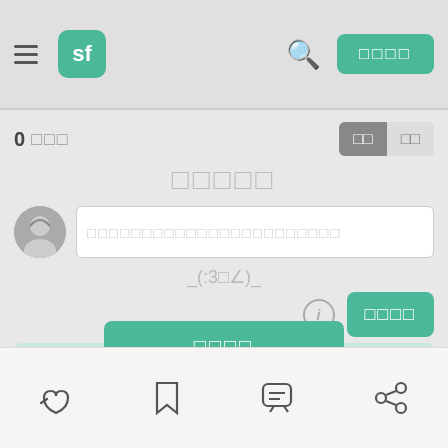[Figure (screenshot): Mobile app UI screenshot showing a social forum interface with header bar containing hamburger menu, sf logo, search icon and green button. Main content shows comment count, page title, comment input area with avatar, emoticon, action buttons, and a markdown hint overlay panel. Bottom navigation bar with like, bookmark, comment, and share icons.]